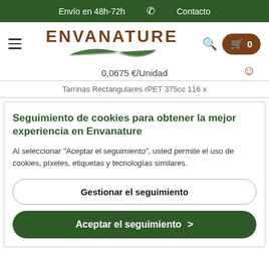Envío en 48h-72h   📞   Contacto
[Figure (logo): Envanature logo with green leaf graphic and brown text]
0,0675 €/Unidad
Tarrinas Rectangulares rPET 375cc 116 x
Seguimiento de cookies para obtener la mejor experiencia en Envanature
Al seleccionar "Aceptar el seguimiento", usted permite el uso de cookies, píxeles, etiquetas y tecnologías similares.
Gestionar el seguimiento
Aceptar el seguimiento >